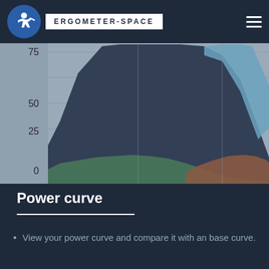ERGOMETER-SPACE
[Figure (area-chart): Stacked area chart showing power curve data with dark navy main area, a light blue area on the right side, a green area at the bottom-left, and a brown/rust area at the bottom-right. Y-axis labels: 0, 25, 50, 75.]
Power curve
View your power curve and compare it with an base curve.